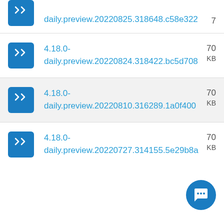4.18.0-daily.preview.20220825.318648.c58e322  7...
4.18.0-daily.preview.20220824.318422.bc5d708  70... KB
4.18.0-daily.preview.20220810.316289.1a0f400  70... KB
4.18.0-daily.preview.20220727.314155.5e29b8a  70... KB